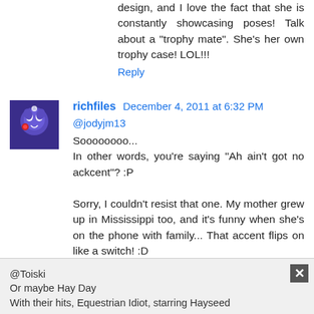design, and I love the fact that she is constantly showcasing poses! Talk about a "trophy mate". She's her own trophy case! LOL!!!
Reply
richfiles  December 4, 2011 at 6:32 PM
@jodyjm13
Soooooooo...
In other words, you're saying "Ah ain't got no ackcent"? :P

Sorry, I couldn't resist that one. My mother grew up in Mississippi too, and it's funny when she's on the phone with family... That accent flips on like a switch! :D
Reply
Renegade the Last Shadowbolt  December 4, 2011 at 6:34 PM
@Toiski
Or maybe Hay Day
With their hits, Equestrian Idiot, starring Hayseed